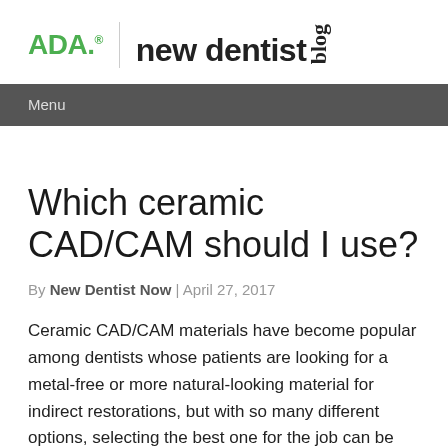ADA. | new dentist blog
Menu
Which ceramic CAD/CAM should I use?
By New Dentist Now | April 27, 2017
Ceramic CAD/CAM materials have become popular among dentists whose patients are looking for a metal-free or more natural-looking material for indirect restorations, but with so many different options, selecting the best one for the job can be challenging, especially for newer dentists.